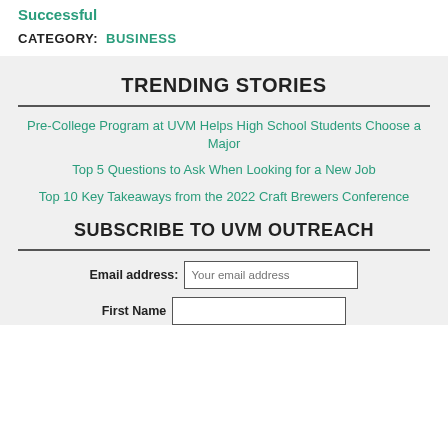Successful
CATEGORY: BUSINESS
TRENDING STORIES
Pre-College Program at UVM Helps High School Students Choose a Major
Top 5 Questions to Ask When Looking for a New Job
Top 10 Key Takeaways from the 2022 Craft Brewers Conference
SUBSCRIBE TO UVM OUTREACH
Email address: Your email address
First Name